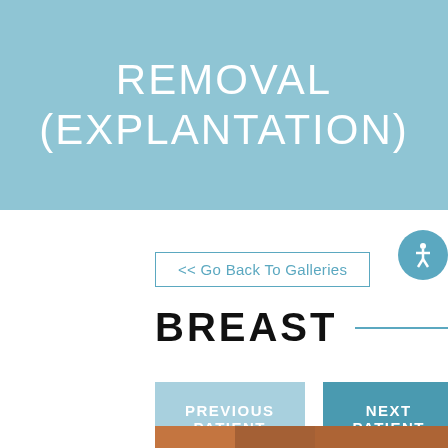BREAST IMPLANT REMOVAL (EXPLANTATION)
<< Go Back To Galleries
BREAST
PREVIOUS PATIENT
NEXT PATIENT
Top